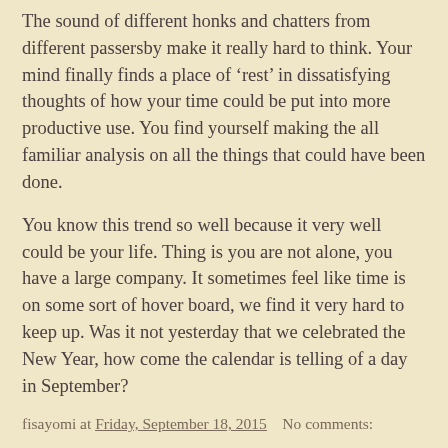The sound of different honks and chatters from different passersby make it really hard to think. Your mind finally finds a place of ‘rest’ in dissatisfying thoughts of how your time could be put into more productive use. You find yourself making the all familiar analysis on all the things that could have been done.
You know this trend so well because it very well could be your life. Thing is you are not alone, you have a large company. It sometimes feel like time is on some sort of hover board, we find it very hard to keep up. Was it not yesterday that we celebrated the New Year, how come the calendar is telling of a day in September?
fisayomi at Friday, September 18, 2015   No comments:
Thursday, September 17, 2015
Why You're No Longer Good Enough For Your Partner